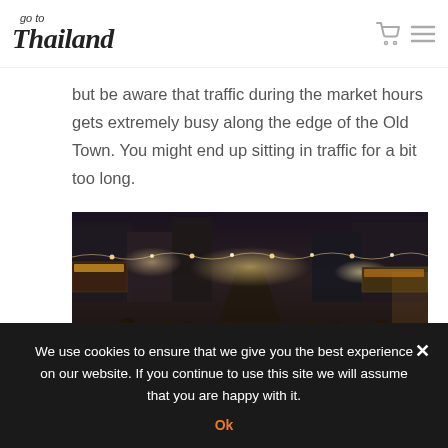go to Thailand
but be aware that traffic during the market hours gets extremely busy along the edge of the Old Town. You might end up sitting in traffic for a bit too long.
[Figure (photo): Crowded night market street scene in Thailand's Old Town, taken at night with bright lights, street vendors, and large crowds of people walking.]
We use cookies to ensure that we give you the best experience on our website. If you continue to use this site we will assume that you are happy with it. Ok